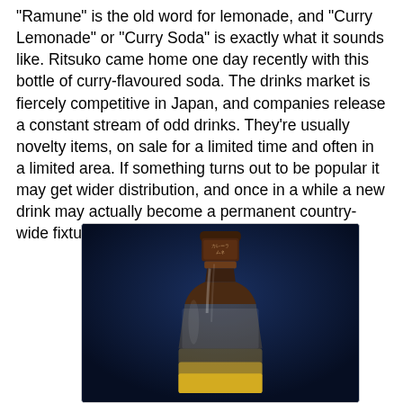"Ramune" is the old word for lemonade, and "Curry Lemonade" or "Curry Soda" is exactly what it sounds like. Ritsuko came home one day recently with this bottle of curry-flavoured soda. The drinks market is fiercely competitive in Japan, and companies release a constant stream of odd drinks. They're usually novelty items, on sale for a limited time and often in a limited area. If something turns out to be popular it may get wider distribution, and once in a while a new drink may actually become a permanent country-wide fixture.
[Figure (photo): A photograph of a curry-flavoured soda bottle against a dark navy blue background. The bottle has a brown cap with Japanese text (カレーラムネ), and a curved glass bottle shape with golden/amber coloured liquid visible at the bottom.]